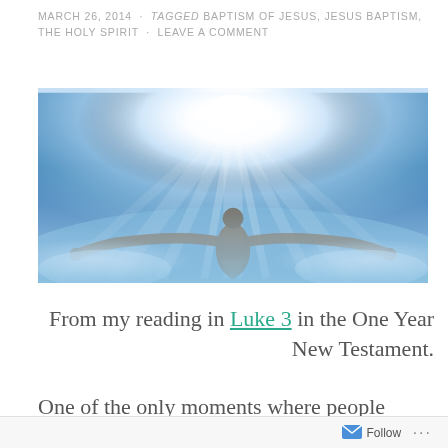MARCH 26, 2014 · Tagged BAPTISM OF JESUS, JESUS BAPTISM, THE HOLY SPIRIT · LEAVE A COMMENT
[Figure (photo): A figure with arms outstretched against a bright sky with a dove of light above, water visible, representing the baptism of Jesus.]
From my reading in Luke 3 in the One Year New Testament.
One of the only moments where people
Follow ...